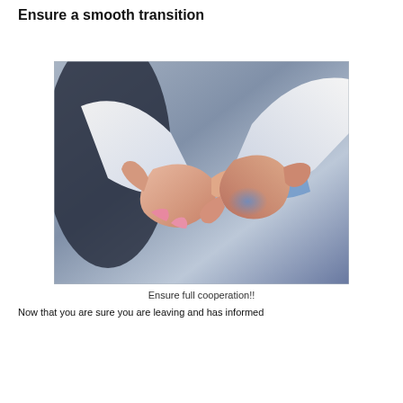Ensure a smooth transition
[Figure (photo): Two people in white dress shirts shaking hands, photographed close-up with a blurred grey background and a subtle blue light effect on the handshake area.]
Ensure full cooperation!!
Now that you are sure you are leaving and has informed